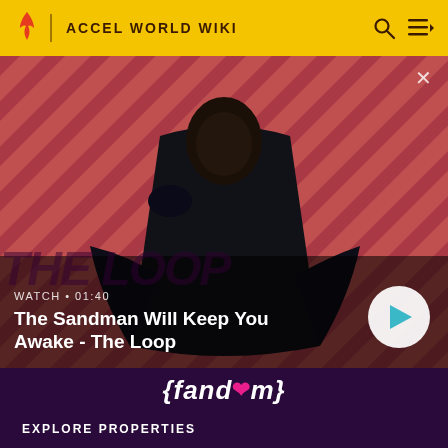ACCEL WORLD WIKI
[Figure (screenshot): Video thumbnail showing a dark-cloaked figure with a raven on shoulder against a diagonal red and dark stripe pattern background. Text overlay reads WATCH • 01:40 and The Sandman Will Keep You Awake - The Loop with a play button.]
WATCH • 01:40
The Sandman Will Keep You Awake - The Loop
[Figure (logo): Fandom logo in white italic text with a pink heart symbol]
EXPLORE PROPERTIES
Fandom
Futhead
Cortex RPG
Fanatical